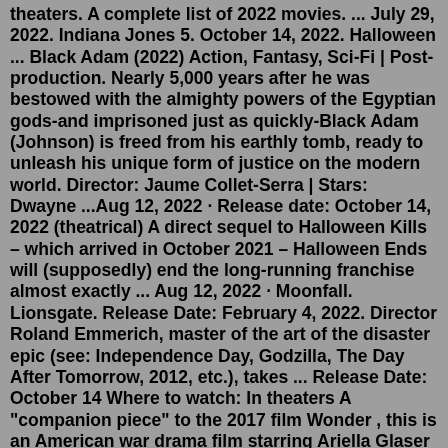theaters. A complete list of 2022 movies. ... July 29, 2022. Indiana Jones 5. October 14, 2022. Halloween ... Black Adam (2022) Action, Fantasy, Sci-Fi | Post-production. Nearly 5,000 years after he was bestowed with the almighty powers of the Egyptian gods-and imprisoned just as quickly-Black Adam (Johnson) is freed from his earthly tomb, ready to unleash his unique form of justice on the modern world. Director: Jaume Collet-Serra | Stars: Dwayne ...Aug 12, 2022 · Release date: October 14, 2022 (theatrical) A direct sequel to Halloween Kills – which arrived in October 2021 – Halloween Ends will (supposedly) end the long-running franchise almost exactly ... Aug 12, 2022 · Moonfall. Lionsgate. Release Date: February 4, 2022. Director Roland Emmerich, master of the art of the disaster epic (see: Independence Day, Godzilla, The Day After Tomorrow, 2012, etc.), takes ... Release Date: October 14 Where to watch: In theaters A "companion piece" to the 2017 film Wonder , this is an American war drama film starring Ariella Glaser , Orlando Schwerdt , Bryce Gheisar ... Aug 23, 2022 ·